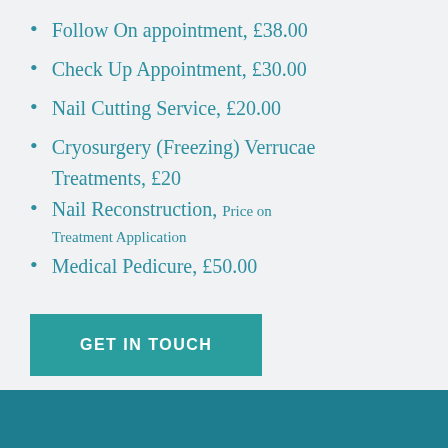Follow On appointment, £38.00
Check Up Appointment, £30.00
Nail Cutting Service, £20.00
Cryosurgery (Freezing) Verrucae Treatments, £20
Nail Reconstruction, Price on Treatment Application
Medical Pedicure, £50.00
GET IN TOUCH